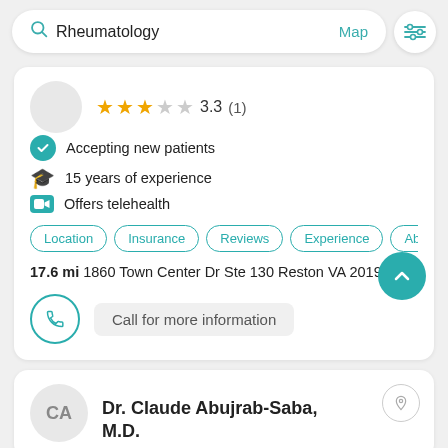Rheumatology  Map
3.3 (1)
Accepting new patients
15 years of experience
Offers telehealth
Location  Insurance  Reviews  Experience  Abo
17.6 mi 1860 Town Center Dr Ste 130 Reston VA 20190
Call for more information
Dr. Claude Abujrab-Saba, M.D.